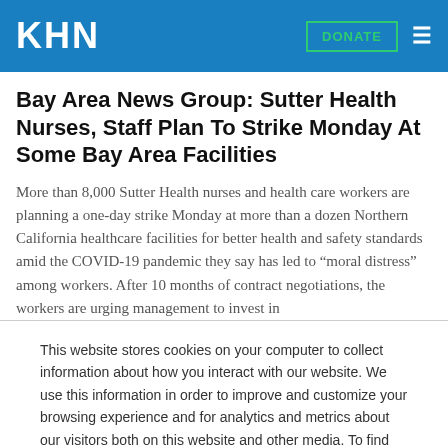KHN | DONATE ≡
Bay Area News Group: Sutter Health Nurses, Staff Plan To Strike Monday At Some Bay Area Facilities
More than 8,000 Sutter Health nurses and health care workers are planning a one-day strike Monday at more than a dozen Northern California healthcare facilities for better health and safety standards amid the COVID-19 pandemic they say has led to “moral distress” among workers. After 10 months of contract negotiations, the workers are urging management to invest in
This website stores cookies on your computer to collect information about how you interact with our website. We use this information in order to improve and customize your browsing experience and for analytics and metrics about our visitors both on this website and other media. To find out more about the cookies we use, see our Privacy Policy.
Accept